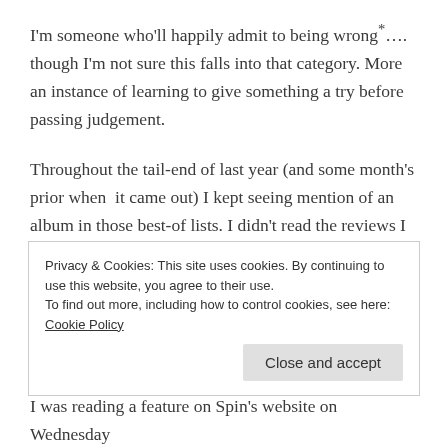I'm someone who'll happily admit to being wrong*…. though I'm not sure this falls into that category. More an instance of learning to give something a try before passing judgement.
Throughout the tail-end of last year (and some month's prior when it came out) I kept seeing mention of an album in those best-of lists. I didn't read the reviews I didn't want to know. Why? Well the cover was a big WTF. You can see it here. See, told ya. Nope, not joking; that really is the cover. The band, The Hotelier, decided that's the best way to package their album Goodness
Privacy & Cookies: This site uses cookies. By continuing to use this website, you agree to their use.
To find out more, including how to control cookies, see here: Cookie Policy
Close and accept
I was reading a feature on Spin's website on Wednesday